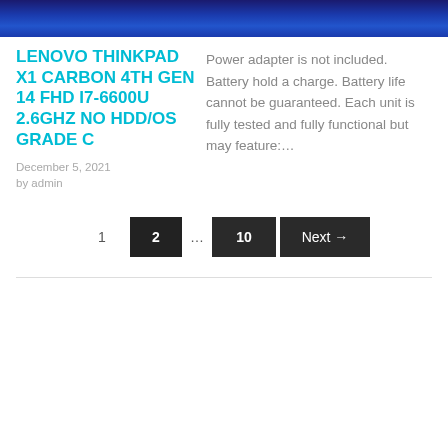[Figure (photo): Top portion of a laptop product image with blue background]
LENOVO THINKPAD X1 CARBON 4TH GEN 14 FHD I7-6600U 2.6GHZ NO HDD/OS GRADE C
Power adapter is not included. Battery hold a charge. Battery life cannot be guaranteed. Each unit is fully tested and fully functional but may feature:…
December 5, 2021
by admin
1 2 … 10 Next →